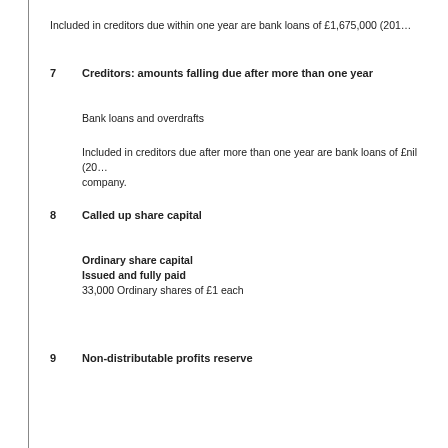Included in creditors due within one year are bank loans of £1,675,000 (201…
7   Creditors: amounts falling due after more than one year
Bank loans and overdrafts
Included in creditors due after more than one year are bank loans of £nil (20… company.
8   Called up share capital
Ordinary share capital
Issued and fully paid
33,000 Ordinary shares of £1 each
9   Non-distributable profits reserve